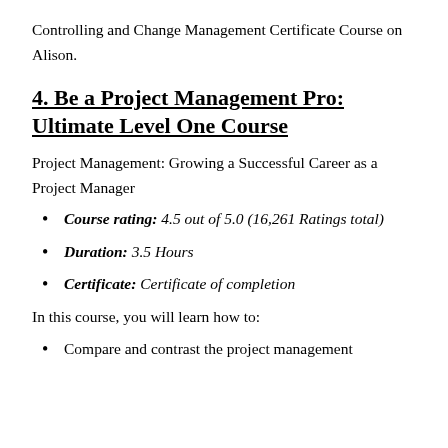Controlling and Change Management Certificate Course on Alison.
4. Be a Project Management Pro: Ultimate Level One Course
Project Management: Growing a Successful Career as a Project Manager
Course rating: 4.5 out of 5.0 (16,261 Ratings total)
Duration: 3.5 Hours
Certificate: Certificate of completion
In this course, you will learn how to:
Compare and contrast the project management